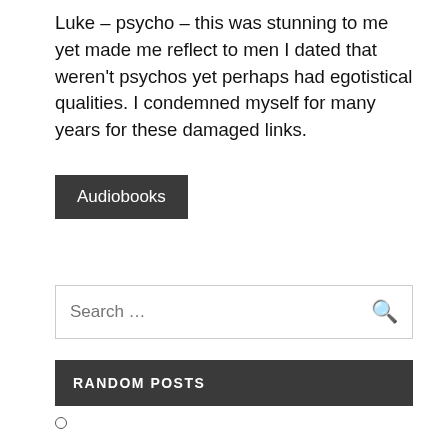Luke – psycho – this was stunning to me yet made me reflect to men I dated that weren't psychos yet perhaps had egotistical qualities. I condemned myself for many years for these damaged links.
Audiobooks
Search …
RANDOM POSTS
James Baldwin – Go Tell It on the Mountain Audiobook Free